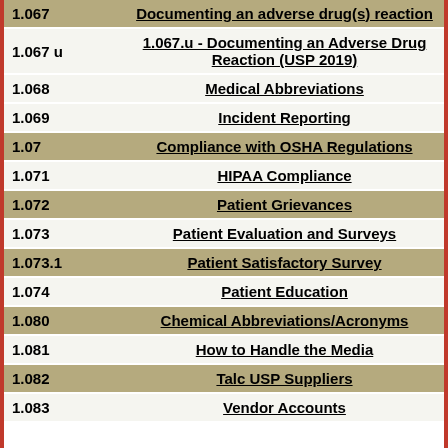| Number | Title |
| --- | --- |
| 1.067 | Documenting an adverse drug(s) reaction |
| 1.067 u | 1.067.u - Documenting an Adverse Drug Reaction (USP 2019) |
| 1.068 | Medical Abbreviations |
| 1.069 | Incident Reporting |
| 1.07 | Compliance with OSHA Regulations |
| 1.071 | HIPAA Compliance |
| 1.072 | Patient Grievances |
| 1.073 | Patient Evaluation and Surveys |
| 1.073.1 | Patient Satisfactory Survey |
| 1.074 | Patient Education |
| 1.080 | Chemical Abbreviations/Acronyms |
| 1.081 | How to Handle the Media |
| 1.082 | Talc USP Suppliers |
| 1.083 | Vendor Accounts |